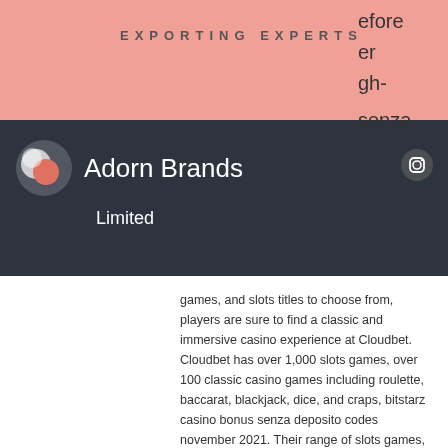EXPORTING EXPERTS
[Figure (logo): Adorn Brands Limited logo with dark navy navigation bar, Instagram icon, Facebook icon, and hamburger menu icon]
games, and slots titles to choose from, players are sure to find a classic and immersive casino experience at Cloudbet. Cloudbet has over 1,000 slots games, over 100 classic casino games including roulette, baccarat, blackjack, dice, and craps, bitstarz casino bonus senza deposito codes november 2021. Their range of slots games, despite not being as numerous as BitStarz, are from many of the same games providers, so there's a lot of familiar titles available to play on Cloudbet. Electronic sports, or 'Esports', are gaming tournaments played online using multiplayer video games. These can be anything from team games, to